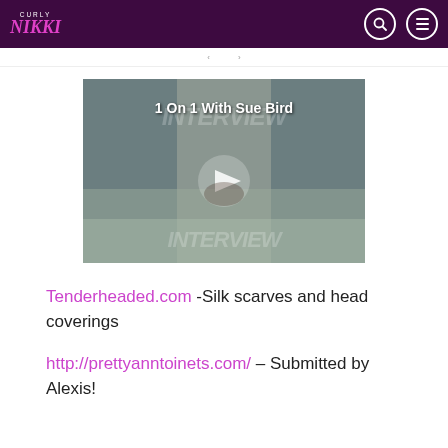Curly Nikki
[Figure (screenshot): Video thumbnail showing '1 On 1 With Sue Bird' with a play button in the center and watermark text 'INTERVIEW' repeated]
Tenderheaded.com -Silk scarves and head coverings
http://prettyanntoinets.com/ – Submitted by Alexis!